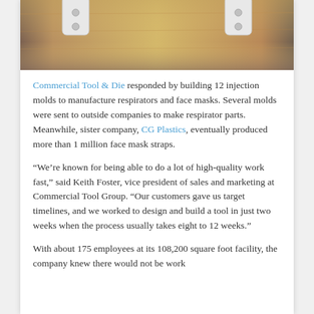[Figure (photo): Photo of white plastic face mask straps/clips on a wooden surface]
Commercial Tool & Die responded by building 12 injection molds to manufacture respirators and face masks. Several molds were sent to outside companies to make respirator parts. Meanwhile, sister company, CG Plastics, eventually produced more than 1 million face mask straps.
“We’re known for being able to do a lot of high-quality work fast,” said Keith Foster, vice president of sales and marketing at Commercial Tool Group. “Our customers gave us target timelines, and we worked to design and build a tool in just two weeks when the process usually takes eight to 12 weeks.”
With about 175 employees at its 108,200 square foot facility, the company knew there would not be work